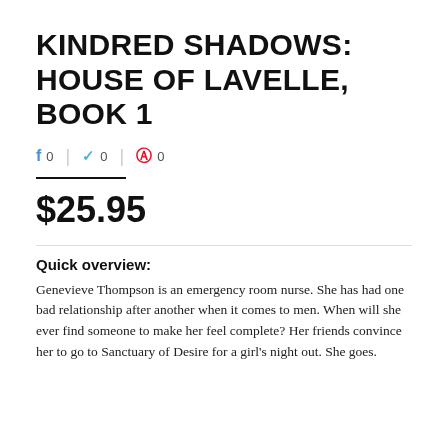KINDRED SHADOWS: HOUSE OF LAVELLE, BOOK 1
f 0 | 🐦 0 | ⊕ 0
$25.95
Quick overview:
Genevieve Thompson is an emergency room nurse. She has had one bad relationship after another when it comes to men. When will she ever find someone to make her feel complete? Her friends convince her to go to Sanctuary of Desire for a girl's night out. She goes.